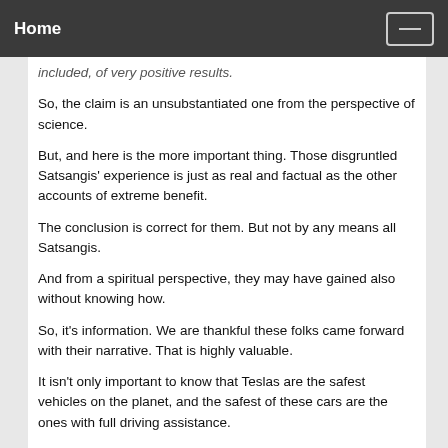Home
included, of very positive results.
So, the claim is an unsubstantiated one from the perspective of science.
But, and here is the more important thing. Those disgruntled Satsangis' experience is just as real and factual as the other accounts of extreme benefit.
The conclusion is correct for them. But not by any means all Satsangis.
And from a spiritual perspective, they may have gained also without knowing how.
So, it's information. We are thankful these folks came forward with their narrative. That is highly valuable.
It isn't only important to know that Teslas are the safest vehicles on the planet, and the safest of these cars are the ones with full driving assistance.
It is also important to know when they fail, so that we can learn from those failures.